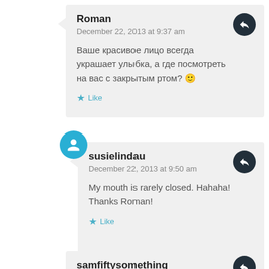Roman
December 22, 2013 at 9:37 am
Ваше красивое лицо всегда украшает улыбка, а где посмотреть на вас с закрытым ртом? 🙂
Like
susielindau
December 22, 2013 at 9:50 am
My mouth is rarely closed. Hahaha! Thanks Roman!
Like
samfiftysomething
November 29, 2013 at 9:49 am